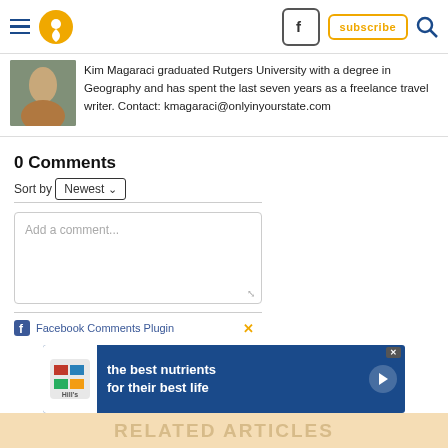Navigation header with hamburger menu, location pin, Facebook icon, subscribe button, and search icon
Kim Magaraci graduated Rutgers University with a degree in Geography and has spent the last seven years as a freelance travel writer. Contact: kmagaraci@onlyinyourstate.com
0 Comments
Sort by Newest
Add a comment...
Facebook Comments Plugin
[Figure (infographic): Hill's pet nutrition advertisement banner: the best nutrients for their best life]
RELATED ARTICLES